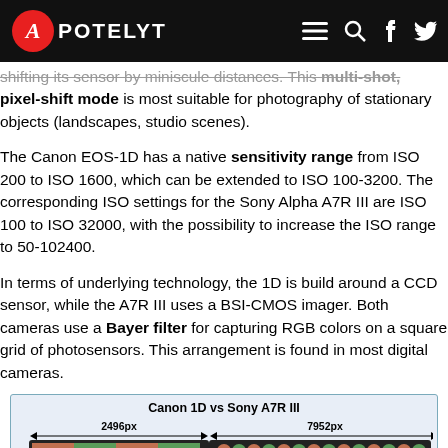APOTELYT
shifting its sensor by miniscule distances. This multi-shot, pixel-shift mode is most suitable for photography of stationary objects (landscapes, studio scenes).
The Canon EOS-1D has a native sensitivity range from ISO 200 to ISO 1600, which can be extended to ISO 100-3200. The corresponding ISO settings for the Sony Alpha A7R III are ISO 100 to ISO 32000, with the possibility to increase the ISO range to 50-102400.
In terms of underlying technology, the 1D is build around a CCD sensor, while the A7R III uses a BSI-CMOS imager. Both cameras use a Bayer filter for capturing RGB colors on a square grid of photosensors. This arrangement is found in most digital cameras.
[Figure (illustration): Diagram comparing sensor sizes: Canon 1D (2496px wide) vs Sony A7R III (7952px wide), showing Bayer filter pixel patterns on each sensor.]